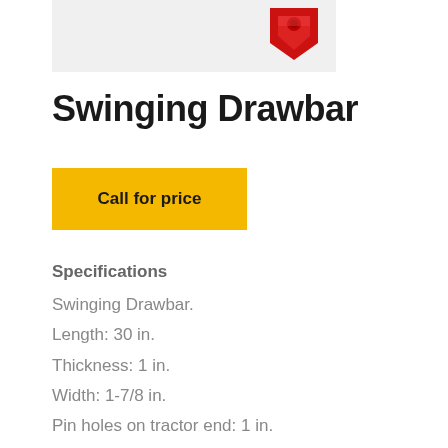[Figure (photo): Partial image of a red swinging drawbar component on a light gray background, shown from above/angle]
Swinging Drawbar
Call for price
Specifications
Swinging Drawbar.
Length: 30 in.
Thickness: 1 in.
Width: 1-7/8 in.
Pin holes on tractor end: 1 in.
Pin holes on attachment end: 3/4 in.
Lateral movement.